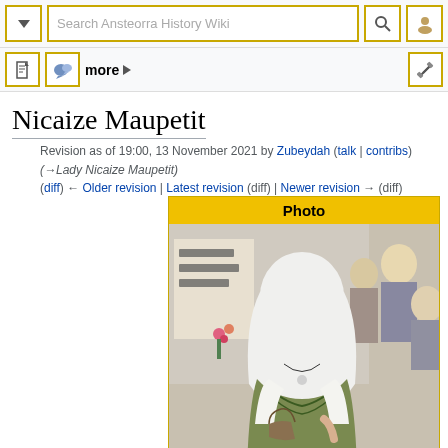Search Ansteorra History Wiki
Nicaize Maupetit
Revision as of 19:00, 13 November 2021 by Zubeydah (talk | contribs) (→Lady Nicaize Maupetit)
(diff) ← Older revision | Latest revision (diff) | Newer revision → (diff)
[Figure (photo): Woman in medieval costume with white head covering and green embroidered dress, looking down, at what appears to be a historical reenactment event]